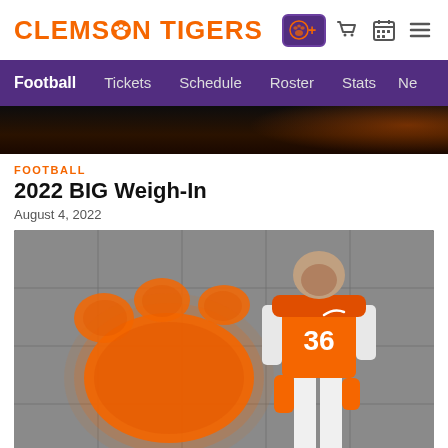CLEMSON TIGERS
Football  Tickets  Schedule  Roster  Stats  News
[Figure (photo): Dark hero image strip at top of article page]
FOOTBALL
2022 BIG Weigh-In
August 4, 2022
[Figure (photo): Clemson Tigers football player wearing jersey number 36 in orange uniform, posing against a grey tile wall with a large orange illuminated paw print logo behind them]